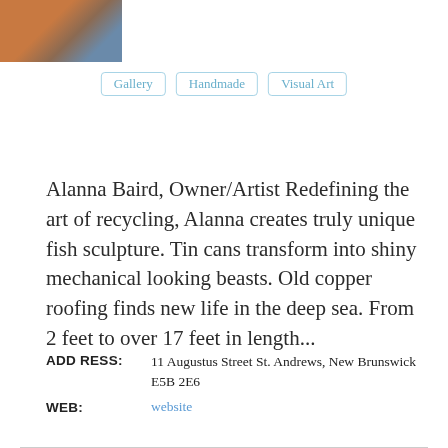[Figure (photo): Partial photo of a person wearing an orange/rust colored garment, cropped at top-left corner of page]
Gallery
Handmade
Visual Art
Alanna Baird, Owner/Artist Redefining the art of recycling, Alanna creates truly unique fish sculpture. Tin cans transform into shiny mechanical looking beasts. Old copper roofing finds new life in the deep sea. From 2 feet to over 17 feet in length...
ADDRESS: 11 Augustus Street St. Andrews, New Brunswick E5B 2E6
WEB: website